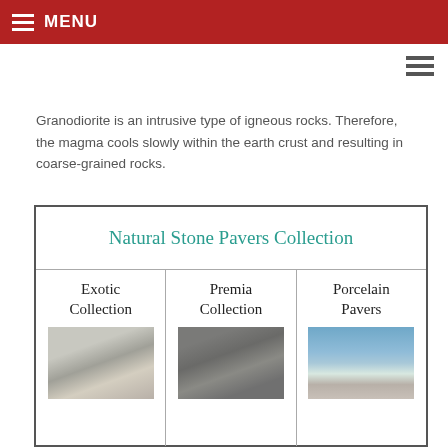MENU
Granodiorite is an intrusive type of igneous rocks. Therefore, the magma cools slowly within the earth crust and resulting in coarse-grained rocks.
| Natural Stone Pavers Collection |
| --- |
| Exotic Collection | Premia Collection | Porcelain Pavers |